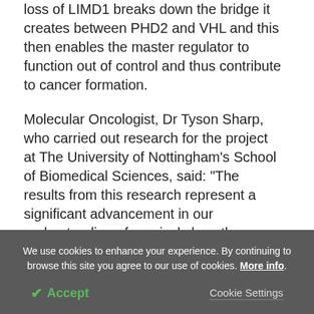loss of LIMD1 breaks down the bridge it creates between PHD2 and VHL and this then enables the master regulator to function out of control and thus contribute to cancer formation.
Molecular Oncologist, Dr Tyson Sharp, who carried out research for the project at The University of Nottingham's School of Biomedical Sciences, said: "The results from this research represent a significant advancement in our understanding of precisely how the hypoxic response works. It will help researchers
We use cookies to enhance your experience. By continuing to browse this site you agree to our use of cookies. More info.
✓ Accept   Cookie Settings